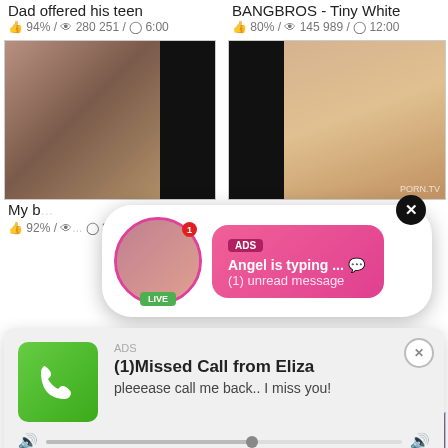Dad offered his teen
94% / 280 251 / 6:00
BANGBROS - Tiny White
80% / 145 989 / 12:00
[Figure (screenshot): Video thumbnail - left top]
[Figure (screenshot): Video thumbnail - right top]
My b...
92% / ...  :00
[Figure (screenshot): Ad overlay with chat notification - ADS label, Angel is typing... emoji, (1) unread message, LIVE badge, close X button]
[Figure (screenshot): Ad overlay missed call - ADS, (1)Missed Call from Eliza, pleeease call me back.. I miss you!, audio player 0:00 to 3:23, playback controls]
[Figure (screenshot): Video thumbnail bottom left]
[Figure (screenshot): Video thumbnail bottom right with FREE PINK watermark]
(Diamond Jackson) Big Huge
Fountain of milk, sexy